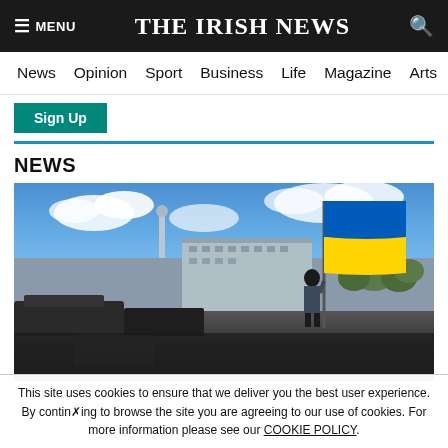THE IRISH NEWS
News | Opinion | Sport | Business | Life | Magazine | Arts
Sign Up
NEWS
[Figure (photo): A person standing on an elevated surface holding a large Ukrainian flag (blue and yellow) in an open square with military vehicles and city buildings in the background, under a blue sky with clouds.]
This site uses cookies to ensure that we deliver you the best user experience. By continuing to browse the site you are agreeing to our use of cookies. For more information please see our COOKIE POLICY.